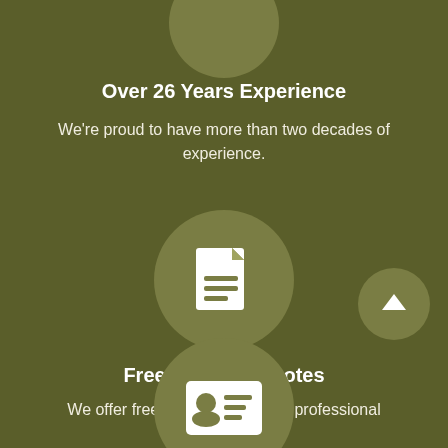[Figure (illustration): Partially visible circle icon at top of page (olive/khaki colored circle, icon cropped)]
Over 26 Years Experience
We're proud to have more than two decades of experience.
[Figure (illustration): Document/file icon inside an olive circle — white document with lines representing text]
Free advice & quotes
We offer free expert advice and professional quotations.
[Figure (illustration): Scroll-up arrow button — olive circle with white upward arrow, positioned bottom-right]
[Figure (illustration): Partially visible circle icon at bottom of page with a card/ID icon — olive circle cut off at page bottom]